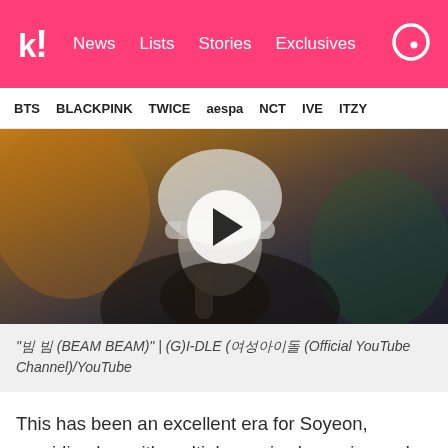k! News Lists Stories Exclusives
BTS BLACKPINK TWICE aespa NCT IVE ITZY
[Figure (screenshot): Video thumbnail showing a person with white/silver hair and a white hat holding a microphone, with a play button overlay. This is a YouTube video embed for (G)I-DLE's BEAM BEAM.]
“빔 빔 (BEAM BEAM)” | (G)I-DLE (여성)아이돌 (Official YouTube Channel)/YouTube
This has been an excellent era for Soyeon, providing her with multiple music show wins and a budding friendship with senior idols 2PM.